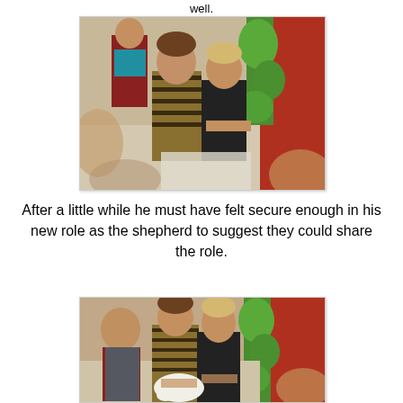well.
[Figure (photo): Children in costume at what appears to be a school play or nativity scene. Two boys in the foreground — one in a striped brown tunic and one in a dark shirt — interact with each other. Other children and colorful props visible in the background.]
After a little while he must have felt secure enough in his new role as the shepherd to suggest they could share the role.
[Figure (photo): Similar scene showing the same children in costume, now looking down at something — possibly a stuffed animal or prop lamb — with the colorful nativity backdrop behind them.]